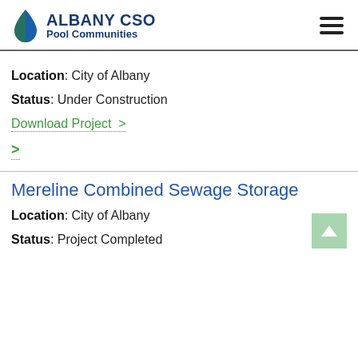ALBANY CSO Pool Communities
Location: City of Albany
Status: Under Construction
Download Project >
>
Mereline Combined Sewage Storage
Location: City of Albany
Status: Project Completed